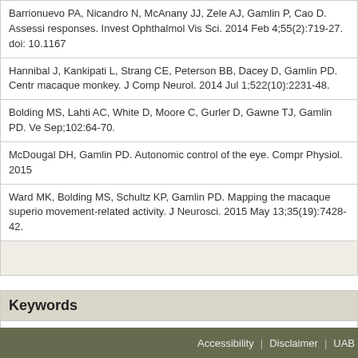| Barrionuevo PA, Nicandro N, McAnany JJ, Zele AJ, Gamlin P, Cao D. Assessi responses. Invest Ophthalmol Vis Sci. 2014 Feb 4;55(2):719-27. doi: 10.1167 |
| Hannibal J, Kankipati L, Strang CE, Peterson BB, Dacey D, Gamlin PD. Centr macaque monkey. J Comp Neurol. 2014 Jul 1;522(10):2231-48. |
| Bolding MS, Lahti AC, White D, Moore C, Gurler D, Gawne TJ, Gamlin PD. Ve Sep;102:64-70. |
| McDougal DH, Gamlin PD. Autonomic control of the eye. Compr Physiol. 2015 |
| Ward MK, Bolding MS, Schultz KP, Gamlin PD. Mapping the macaque superio movement-related activity. J Neurosci. 2015 May 13;35(19):7428-42. |
|  |
Keywords
pupil, vergence, gene therapy, fMRI
Accessibility | Disclaimer | UAB